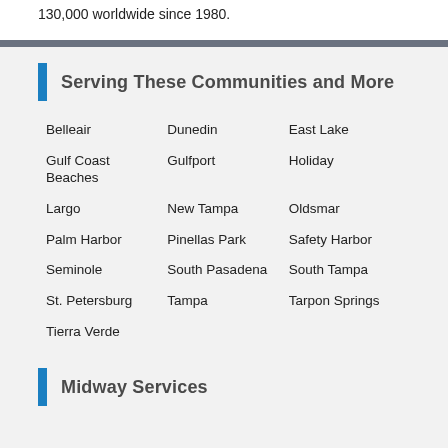130,000 worldwide since 1980.
Serving These Communities and More
Belleair
Dunedin
East Lake
Gulf Coast Beaches
Gulfport
Holiday
Largo
New Tampa
Oldsmar
Palm Harbor
Pinellas Park
Safety Harbor
Seminole
South Pasadena
South Tampa
St. Petersburg
Tampa
Tarpon Springs
Tierra Verde
Midway Services